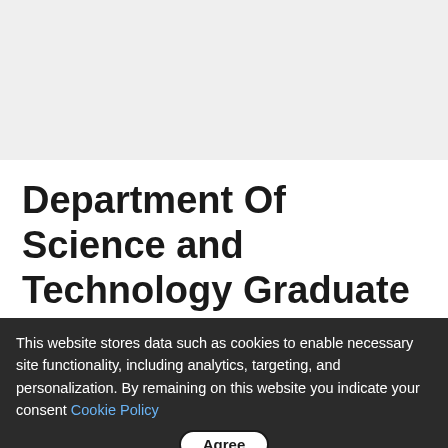Department Of Science and Technology Graduate Internship
Graduate Programmes In South Africa, Internships In South Africa / By vacancies24
Join us on Telegram or WhatsApp and get vacancies on your phone!
This website stores data such as cookies to enable necessary site functionality, including analytics, targeting, and personalization. By remaining on this website you indicate your consent Cookie Policy
Agree
National Government, Provincial Governments and Municipalities,